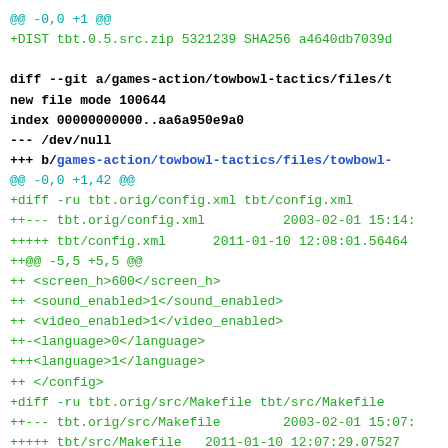@@ -0,0 +1 @@
+DIST tbt.0.5.src.zip 5321239 SHA256 a4640db7039d

diff --git a/games-action/towbowl-tactics/files/t
new file mode 100644
index 00000000000..aa6a950e9a0
--- /dev/null
+++ b/games-action/towbowl-tactics/files/towbowl-
@@ -0,0 +1,42 @@
+diff -ru tbt.orig/config.xml tbt/config.xml
++--- tbt.orig/config.xml          2003-02-01 15:14:
+++++ tbt/config.xml      2011-01-10 12:08:01.56464
++@@ -5,5 +5,5 @@
++ <screen_h>600</screen_h>
++ <sound_enabled>1</sound_enabled>
++ <video_enabled>1</video_enabled>
++-<language>0</language>
+++<language>1</language>
++ </config>
+diff -ru tbt.orig/src/Makefile tbt/src/Makefile
++--- tbt.orig/src/Makefile        2003-02-01 15:07:
+++++ tbt/src/Makefile   2011-01-10 12:07:29.07527